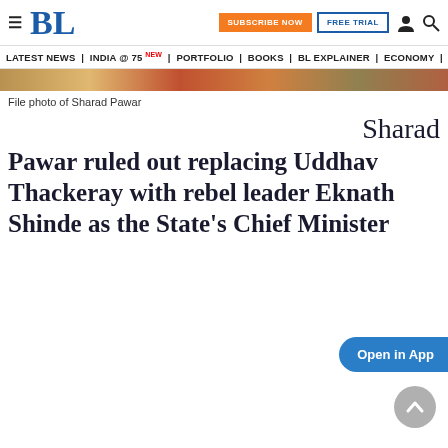BL | SUBSCRIBE NOW | FREE TRIAL
LATEST NEWS | INDIA @75 NEW | PORTFOLIO | BOOKS | BL EXPLAINER | ECONOMY | AGR
File photo of Sharad Pawar
Sharad Pawar ruled out replacing Uddhav Thackeray with rebel leader Eknath Shinde as the State's Chief Minister